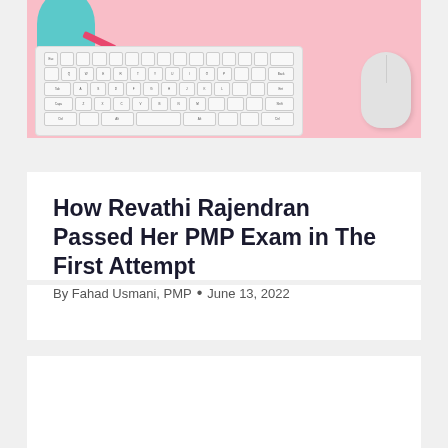[Figure (photo): Photo of a keyboard and mouse on a pink background with a person wearing a teal top partially visible in the top-left corner and a pink pencil nearby]
How Revathi Rajendran Passed Her PMP Exam in The First Attempt
By Fahad Usmani, PMP • June 13, 2022